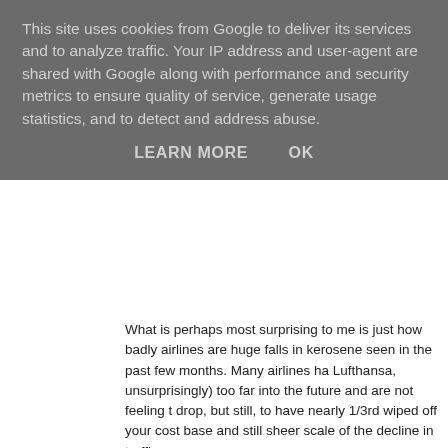This site uses cookies from Google to deliver its services and to analyze traffic. Your IP address and user-agent are shared with Google along with performance and security metrics to ensure quality of service, generate usage statistics, and to detect and address abuse.
LEARN MORE    OK
What is perhaps most surprising to me is just how badly airlines are hurt by the huge falls in kerosene seen in the past few months. Many airlines have hedged (Lufthansa, unsurprisingly) too far into the future and are not feeling the benefit of the drop, but still, to have nearly 1/3rd wiped off your cost base and still struggle shows the sheer scale of the decline in traffic.
At least the global warming crowd will be happy as less planes fill the skies for years.
Posted by CityUnslicker   8 comments:    Labels: Airlines, Fuel Hedging, Global Crisis
Tuesday, 10 March 2009
UK sliding fast: good news?